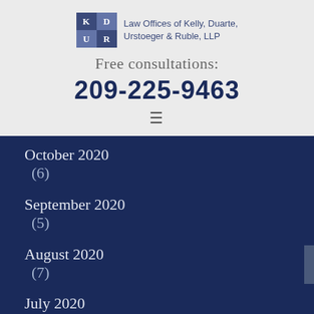[Figure (logo): KD/UR logo box for Law Offices of Kelly, Duarte, Urstoeger & Ruble, LLP]
Free consultations:
209-225-9463
[Figure (other): Hamburger menu icon (three horizontal lines)]
October 2020 (6)
September 2020 (5)
August 2020 (7)
July 2020 (3)